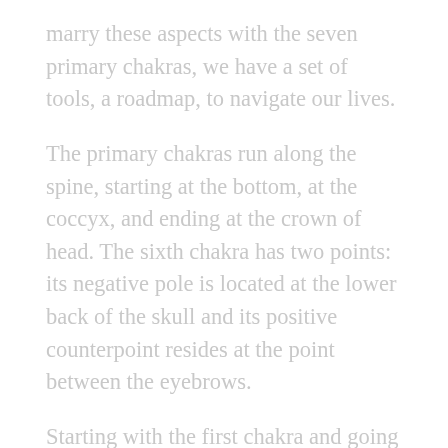marry these aspects with the seven primary chakras, we have a set of tools, a roadmap, to navigate our lives.
The primary chakras run along the spine, starting at the bottom, at the coccyx, and ending at the crown of head. The sixth chakra has two points: its negative pole is located at the lower back of the skull and its positive counterpoint resides at the point between the eyebrows.
Starting with the first chakra and going all the way up to the seventh, the aspects align like this: Chakra 1: the root chakra: peace, Chakra 2: the sacral chakra: wisdom, Chakra 3: the navel chakra: power,